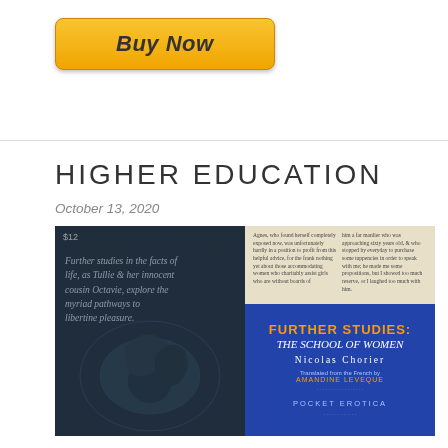[Figure (other): Orange Buy Now button with gradient background and bold italic text]
HIGHER EDUCATION
October 13, 2020
[Figure (photo): Book cover of 'Further Studies: The School of Women' by Nicolas Chorier, translated from the French by Amandine Leveque. Left side shows a dark engraving illustration with italic text overlay. Right side shows top beige panel with small text columns and bottom blue panel with title, author, translator, and Pocket Erotica label.]